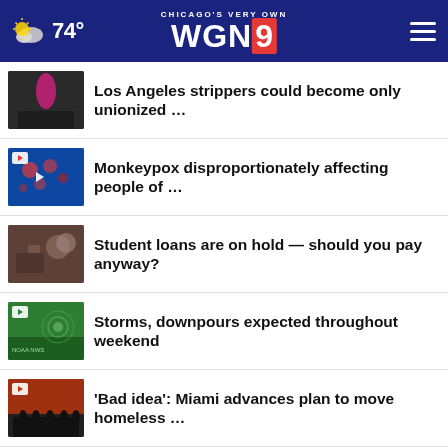Chicago's Very Own WGN9 | 74°
Los Angeles strippers could become only unionized …
Monkeypox disproportionately affecting people of …
Student loans are on hold — should you pay anyway?
Storms, downpours expected throughout weekend
'Bad idea': Miami advances plan to move homeless …
5 wounded in Washington Park shooting: police